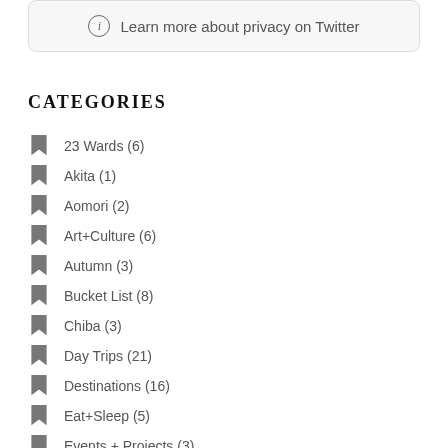[Figure (other): Info icon with text 'Learn more about privacy on Twitter' inside a rounded rectangle box]
CATEGORIES
23 Wards (6)
Akita (1)
Aomori (2)
Art+Culture (6)
Autumn (3)
Bucket List (8)
Chiba (3)
Day Trips (21)
Destinations (16)
Eat+Sleep (5)
Events + Projects (3)
Features (34)